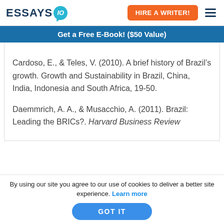ESSAYS IO | HIRE A WRITER!
Get a Free E-Book! ($50 Value)
Cardoso, E., & Teles, V. (2010). A brief history of Brazil’s growth. Growth and Sustainability in Brazil, China, India, Indonesia and South Africa, 19-50.
Daemmrich, A. A., & Musacchio, A. (2011). Brazil: Leading the BRICs?. Harvard Business Review
By using our site you agree to our use of cookies to deliver a better site experience. Learn more
GOT IT